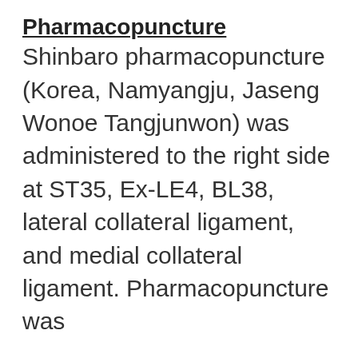Pharmacopuncture
Shinbaro pharmacopuncture (Korea, Namyangju, Jaseng Wonoe Tangjunwon) was administered to the right side at ST35, Ex-LE4, BL38, lateral collateral ligament, and medial collateral ligament. Pharmacopuncture was